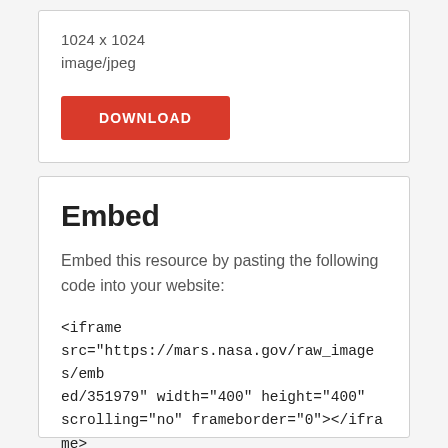1024 x 1024
image/jpeg
DOWNLOAD
Embed
Embed this resource by pasting the following code into your website:
<iframe src="https://mars.nasa.gov/raw_images/embed/351979" width="400" height="400" scrolling="no" frameborder="0"></iframe>